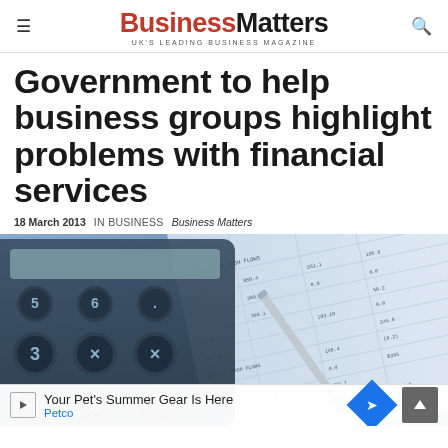BusinessMatters — UK'S LEADING BUSINESS MAGAZINE
Government to help business groups highlight problems with financial services
18 March 2013   IN BUSINESS   Business Matters
[Figure (photo): Close-up of a calculator with financial spreadsheet showing cash flow statements and a pen in the background, blue-toned image]
Your Pet's Summer Gear Is Here — Petco (advertisement)